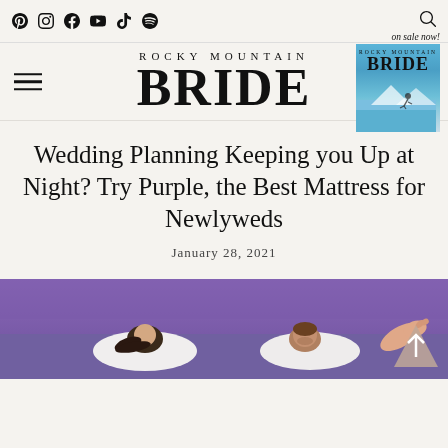Social icons: Pinterest, Instagram, Facebook, YouTube, TikTok, Spotify | Search icon
[Figure (logo): Rocky Mountain Bride logo with hamburger menu and magazine ad on the right showing 'on sale now!']
Wedding Planning Keeping you Up at Night? Try Purple, the Best Mattress for Newlyweds
January 28, 2021
[Figure (photo): Photo of a couple lying in bed on purple bedding with white pillows, looking at each other]